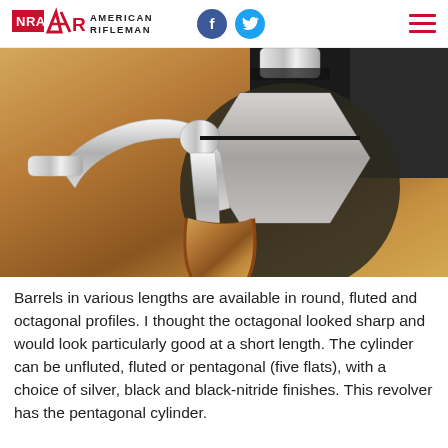NRA American Rifleman
[Figure (photo): Close-up photograph of a revolver showing the cylinder and hammer area with a walnut wood grip, silver/stainless metal frame, and pentagonal cylinder profile against a warm wooden background.]
Barrels in various lengths are available in round, fluted and octagonal profiles. I thought the octagonal looked sharp and would look particularly good at a short length. The cylinder can be unfluted, fluted or pentagonal (five flats), with a choice of silver, black and black-nitride finishes. This revolver has the pentagonal cylinder.